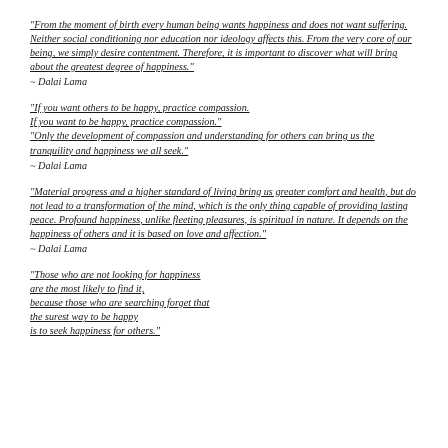“From the moment of birth every human being wants happiness and does not want suffering. Neither social conditioning nor education nor ideology affects this. From the very core of our being, we simply desire contentment. Therefore, it is important to discover what will bring about the greatest degree of happiness.”
~ Dalai Lama
“If you want others to be happy, practice compassion. If you want to be happy, practice compassion.” “Only the development of compassion and understanding for others can bring us the tranquility and happiness we all seek.”
~ Dalai Lama
“Material progress and a higher standard of living bring us greater comfort and health, but do not lead to a transformation of the mind, which is the only thing capable of providing lasting peace. Profound happiness, unlike fleeting pleasures, is spiritual in nature. It depends on the happiness of others and it is based on love and affection.”
~ Dalai Lama
“Those who are not looking for happiness are the most likely to find it, because those who are searching forget that the surest way to be happy is to seek happiness for others.”